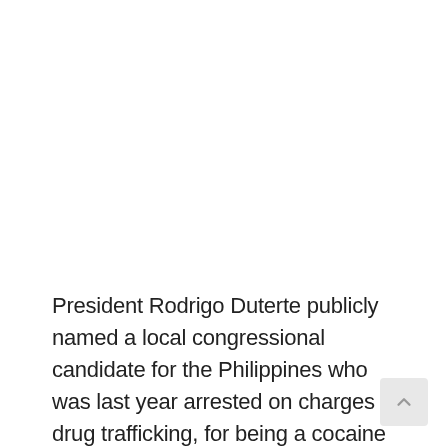President Rodrigo Duterte publicly named a local congressional candidate for the Philippines who was last year arrested on charges of drug trafficking, for being a cocaine addict.